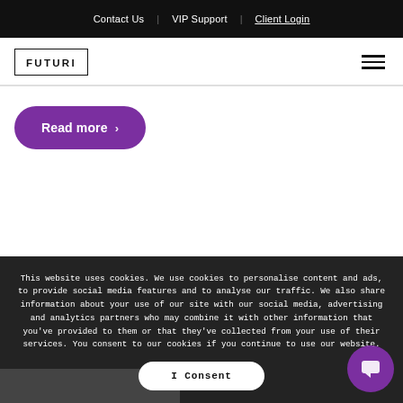Contact Us | VIP Support | Client Login
[Figure (logo): Futuri logo in bordered rectangle]
[Figure (other): Hamburger menu icon]
Read more >
This website uses cookies. We use cookies to personalise content and ads, to provide social media features and to analyse our traffic. We also share information about your use of our site with our social media, advertising and analytics partners who may combine it with other information that you've provided to them or that they've collected from your use of their services. You consent to our cookies if you continue to use our website.
I Consent